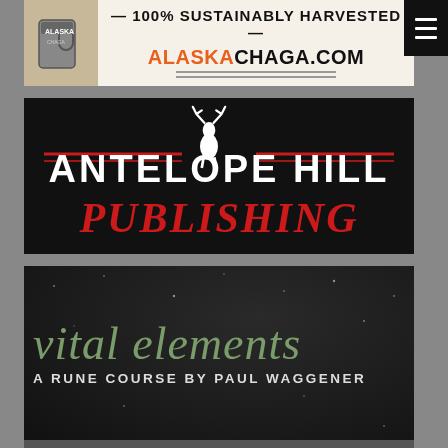[Figure (logo): Alaska Chaga advertisement banner: mug image on left, text '100% SUSTAINABLY HARVESTED' and 'ALASKACHAGA.COM' with Alaska in orange]
[Figure (logo): Antelope Hill Publishing logo on black background: white text 'ANTELOPE HILL' with antelope icon, red italic script 'PUBLISHING' below, red horizontal lines]
[Figure (logo): Vital Elements: A Rune Course by Paul Waggener - dark textured background with green gothic-style title text and white subtitle text]